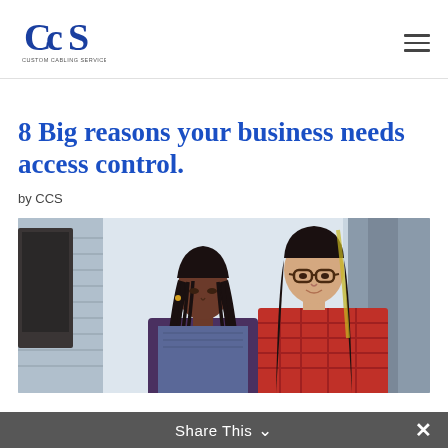[Figure (logo): CCS Custom Cabling Services Inc logo — blue serif CCS letters with tagline below]
8 Big reasons your business needs access control.
by CCS
[Figure (photo): Two women working at a computer in an office setting — one with braids, one with glasses wearing a red plaid shirt]
Share This ∨  ✕